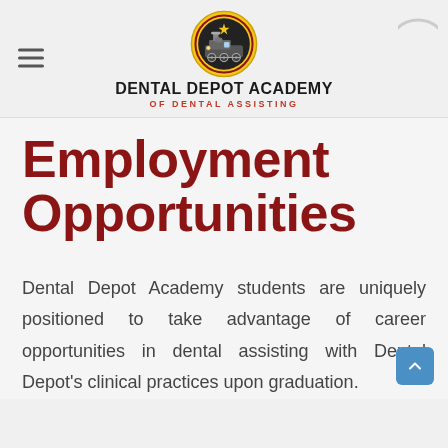DENTAL DEPOT ACADEMY OF DENTAL ASSISTING
Employment Opportunities
Dental Depot Academy students are uniquely positioned to take advantage of career opportunities in dental assisting with Dental Depot's clinical practices upon graduation.